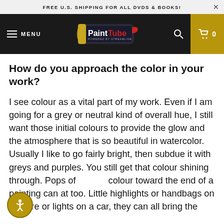FREE U.S. SHIPPING FOR ALL DVDS & BOOKS!
[Figure (logo): PaintTube logo — paint tube with red cap on dark background, 'Powered by Streamline' tagline]
How do you approach the color in your work?
I see colour as a vital part of my work. Even if I am going for a grey or neutral kind of overall hue, I still want those initial colours to provide the glow and the atmosphere that is so beautiful in watercolor. Usually I like to go fairly bright, then subdue it with greys and purples. You still get that colour shining through. Pops of colour toward the end of a painting can at too. Little highlights or handbags on a figure or lights on a car, they can all bring the